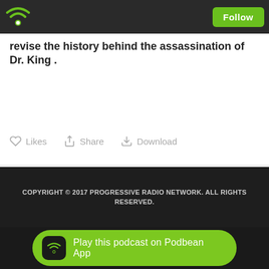[Figure (logo): Podbean wifi logo in green on dark header bar]
Follow
revise the history behind the assassination of Dr. King .
Likes   Share   Download
COPYRIGHT © 2017 PROGRESSIVE RADIO NETWORK. ALL RIGHTS RESERVED.
[Figure (other): Play this podcast on Podbean App button with green rounded background and Podbean icon]